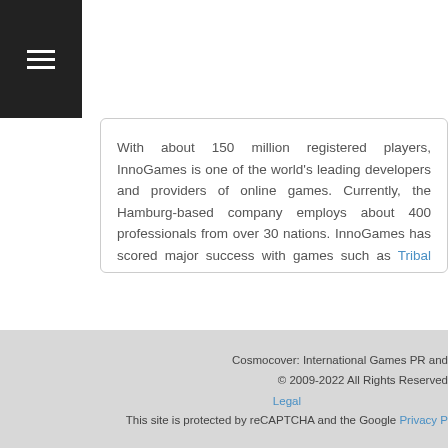With about 150 million registered players, InnoGames is one of the world's leading developers and providers of online games. Currently, the Hamburg-based company employs about 400 professionals from over 30 nations. InnoGames has scored major success with games such as Tribal Wars, Grepolis and Forge of Empires.
More press releases and hot news from InnoGames are available here.
Cosmocover: International Games PR and © 2009-2022 All Rights Reserved. Legal This site is protected by reCAPTCHA and the Google Privacy P...